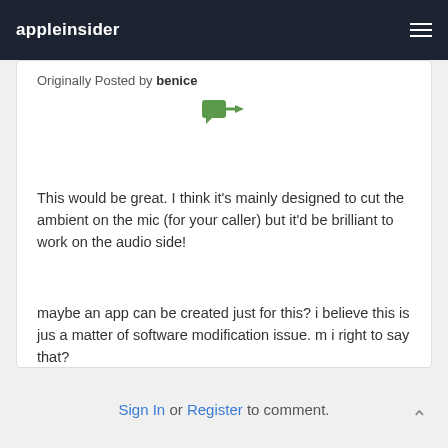appleinsider
Originally Posted by benice
[Figure (illustration): Green speech bubble with forward arrow icon (quote reply icon)]
This would be great. I think it's mainly designed to cut the ambient on the mic (for your caller) but it'd be brilliant to work on the audio side!
maybe an app can be created just for this? i believe this is jus a matter of software modification issue. m i right to say that?
[Figure (illustration): Confused emoji with question marks above head]
Sign In or Register to comment.